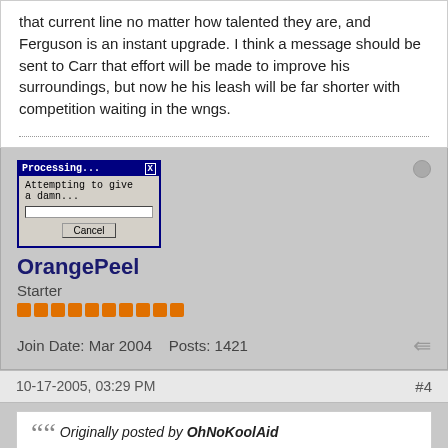that current line no matter how talented they are, and Ferguson is an instant upgrade. I think a message should be sent to Carr that effort will be made to improve his surroundings, but now he his leash will be far shorter with competition waiting in the wngs.
[Figure (screenshot): Windows-style dialog box titled 'Processing...' with text 'Attempting to give a damn...' and a progress bar, with a Cancel button]
OrangePeel
Starter
Join Date: Mar 2004    Posts: 1421
10-17-2005, 03:29 PM
#4
Originally posted by OhNoKoolAid
Hold on just one moment.

David Carr has an out clause in his contract which allows him to void his contract after the season if he has met certain performance measures. As of this morning,
I heard he had reached this marks and could void his contract